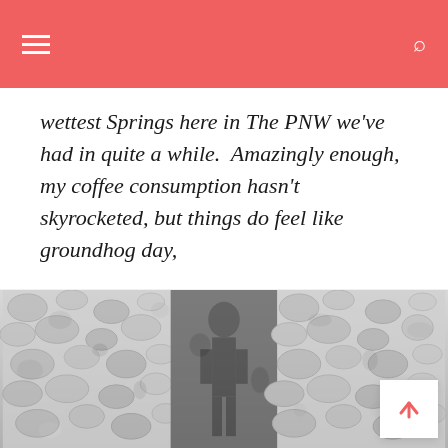Navigation bar with hamburger menu and search icon
wettest Springs here in The PNW we've had in quite a while.  Amazingly enough, my coffee consumption hasn't skyrocketed, but things do feel like groundhog day,
READ MORE
[Figure (photo): Black and white photo of a person in a bikini standing against a pebble/rock wall background]